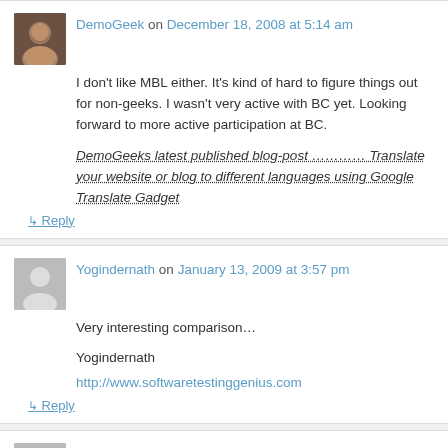DemoGeek on December 18, 2008 at 5:14 am
I don't like MBL either. It's kind of hard to figure things out for non-geeks. I wasn't very active with BC yet. Looking forward to more active participation at BC.
DemoGeeks latest published blog-post ………. Translate your website or blog to different languages using Google Translate Gadget
↳ Reply
Yogindernath on January 13, 2009 at 3:57 pm
Very interesting comparison...
Yogindernath
http://www.softwaretestinggenius.com
↳ Reply
Rob@Poken on April 6, 2009 at 6:21 am